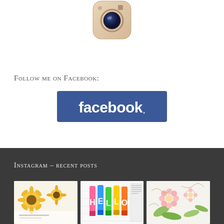[Figure (logo): Instagram camera app icon — rounded square with camera lens graphic, beige/tan gradient background]
Follow me on Facebook:
[Figure (logo): Facebook logo button — blue rounded rectangle with white 'facebook.' text in bold sans-serif]
Instagram – recent posts
[Figure (photo): Photo of sunflowers and baked goods on a light background]
[Figure (photo): Photo of colorful markers or pens spelling HELLO on a light background]
[Figure (photo): Photo or illustration of floral sketch with flowers and leaves]